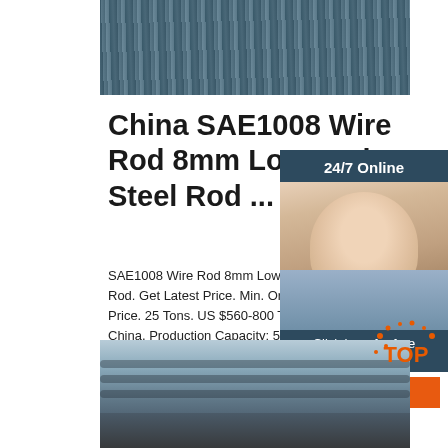[Figure (photo): Close-up photo of steel wire rods bundled together, showing dark gray metallic appearance]
China SAE1008 Wire Rod 8mm Low Carbon Steel Rod ...
SAE1008 Wire Rod 8mm Low Carbon Steel Wire Rod. Get Latest Price. Min. Order Reference Price. 25 Tons. US $560-800 Ton. Port: Shanghai, China. Production Capacity: 50000tons/Month
[Figure (photo): Customer service representative - woman with headset smiling, overlaid on dark blue panel with 24/7 Online text, Click here for free chat label, and QUOTATION button]
[Figure (photo): Photo of steel wire rods on a bridge/industrial structure with urban background]
[Figure (logo): Orange TOP badge/icon in bottom right corner]